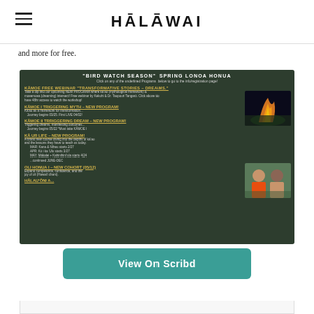HĀLĀWAI
and more for free.
[Figure (infographic): 'Bird Watch Season' Spring Lonoa Honua program flyer. Includes KĀMOE FREE WEBINAR 'Transformative Stories - Dreams', KĀMOE I Triggering Myth - NEW PROGRAM! (Journey begins 03/25, First LIVE 04/02), KĀMOE II Trriggering Dream - NEW PROGRAM! (Journey begins 05/22, Must take KĀMOE I), KĀ UR LIFE - NEW PROGRAM! (MAR: Kana & Nīheu starts 2/27, APR: Kū i ka 'Ulu starts 3/27, MAY: Mākalei + Kahinihinī'ula starts 4/24, ...continued JUNE-DEC), OLI HONUA I - NEW COHORT (05/12) (Expand competence, confidence, and the joy of oli (Hawai'i chant)).]
View On Scribd